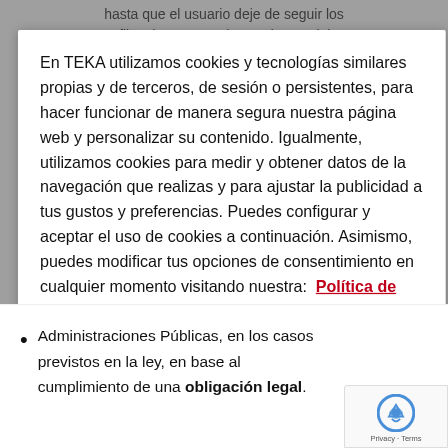hasta que el usuario deje de seguir los perfiles de TEKA en las Redes Sociales.
En TEKA utilizamos cookies y tecnologías similares propias y de terceros, de sesión o persistentes, para hacer funcionar de manera segura nuestra página web y personalizar su contenido. Igualmente, utilizamos cookies para medir y obtener datos de la navegación que realizas y para ajustar la publicidad a tus gustos y preferencias. Puedes configurar y aceptar el uso de cookies a continuación. Asimismo, puedes modificar tus opciones de consentimiento en cualquier momento visitando nuestra:  Política de Cookies
Configuración de cookies
Aceptar todas las cookies
Administraciones Públicas, en los casos previstos en la ley, en base al cumplimiento de una obligación legal.